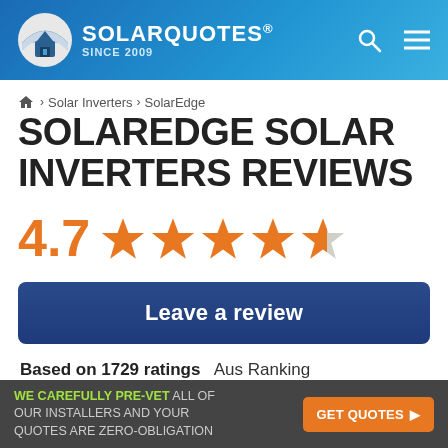SOLARQUOTES® SINCE 2009
Home > Solar Inverters > SolarEdge
SOLAREDGE SOLAR INVERTERS REVIEWS
4.7 ★★★★½
Leave a review
Based on 1729 ratings  Aus Ranking
WE CAREFULLY PRE-VET ALL OF OUR INSTALLERS AND YOUR QUOTES ARE ZERO-OBLIGATION  GET QUOTES ▶